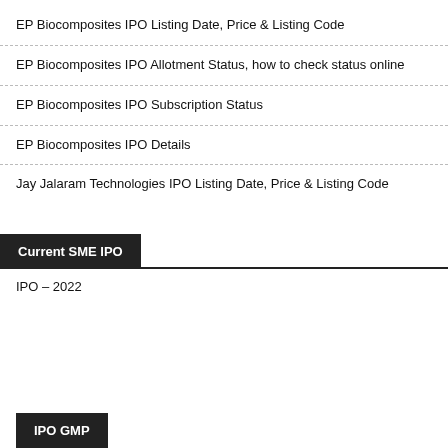EP Biocomposites IPO Listing Date, Price & Listing Code
EP Biocomposites IPO Allotment Status, how to check status online
EP Biocomposites IPO Subscription Status
EP Biocomposites IPO Details
Jay Jalaram Technologies IPO Listing Date, Price & Listing Code
Current SME IPO
IPO – 2022
IPO GMP